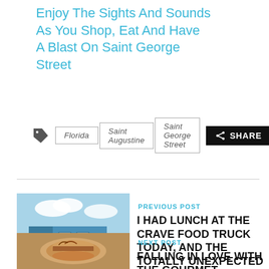Enjoy The Sights And Sounds As You Shop, Eat And Have A Blast On Saint George Street
Florida | Saint Augustine | Saint George Street | SHARE
PREVIOUS POST
I HAD LUNCH AT THE CRAVE FOOD TRUCK TODAY, AND THE TOTALLY UNEXPECTED HAPPENED
NEXT POST
FALLING IN LOVE WITH THE GOURMET